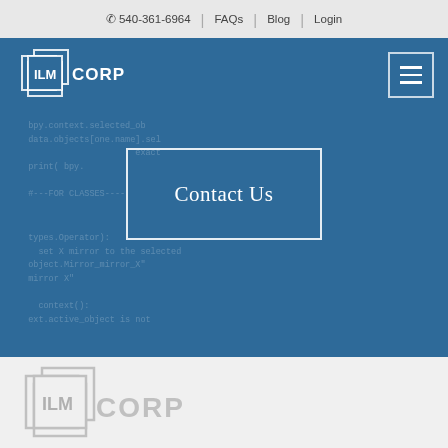📞 540-361-6964 | FAQs | Blog | Login
[Figure (logo): ILM CORP logo in white on blue navigation bar]
Contact Us
[Figure (screenshot): Blue background with faint code text overlay showing Python/programming code snippets]
[Figure (logo): ILM CORP logo in gray on light gray background]